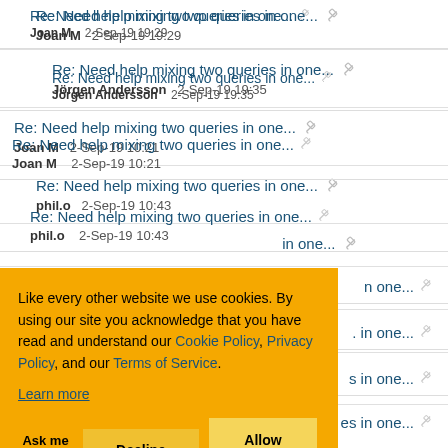Re: Need help mixing two queries in one... Joan M 2-Sep-19 19:29
Re: Need help mixing two queries in one... Jörgen Andersson 2-Sep-19 19:35
Re: Need help mixing two queries in one... Joan M 2-Sep-19 10:21
Re: Need help mixing two queries in one... phil.o 2-Sep-19 10:43
Re: Need help mixing two queries in one... (partial)
Re: Need help mixing two queries in one... (partial)
Re: Need help mixing two queries in one... (partial)
Re: Need help mixing two queries in one... Mycroft Holmes 2-Sep-19 12:40
Like every other website we use cookies. By using our site you acknowledge that you have read and understand our Cookie Policy, Privacy Policy, and our Terms of Service. Learn more
Ask me later | Decline | Allow cookies